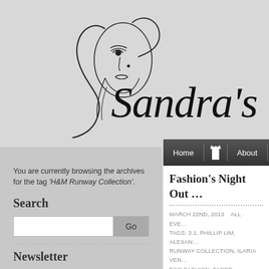[Figure (logo): Sandra's Closet fashion blog logo — line illustration of a woman's face with flowing hair forming an S, with cursive script text 'Sandra's Cl...' (truncated)]
You are currently browsing the archives for the tag 'H&M Runway Collection'.
Search
Newsletter
Fashion's Night Out ...
MARCH 22ND, 2013    ALL · EV... TAGS: 3.1. PHILLIP LIM, ALEXAN... RUNWAY COLLECTION, ILARIA VEN... ECO FASHION, FADED BOTANICAL P... ANTIGLIO, MINI, RENÉ ZIBOLD, VES...